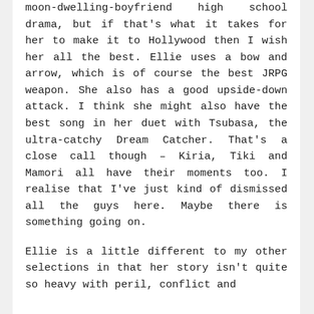moon-dwelling-boyfriend high school drama, but if that's what it takes for her to make it to Hollywood then I wish her all the best. Ellie uses a bow and arrow, which is of course the best JRPG weapon. She also has a good upside-down attack. I think she might also have the best song in her duet with Tsubasa, the ultra-catchy Dream Catcher. That's a close call though – Kiria, Tiki and Mamori all have their moments too. I realise that I've just kind of dismissed all the guys here. Maybe there is something going on.
Ellie is a little different to my other selections in that her story isn't quite so heavy with peril, conflict and